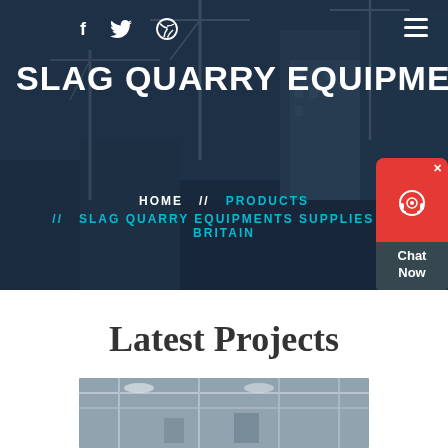[Figure (photo): Hero background showing construction site with cranes and buildings under a dark blue overlay]
f  [twitter icon]  [dribbble icon]  [menu icon]
SLAG QUARRY EQUIPMENTS SU...
HOME  //  PRODUCTS  //  SLAG QUARRY EQUIPMENTS SUPPLIES IN BRITAIN
[Figure (infographic): Chat Now widget with red background, headset icon, and dark grey Chat Now label]
Latest Projects
[Figure (photo): Industrial interior construction image showing scaffolding and steel structure]